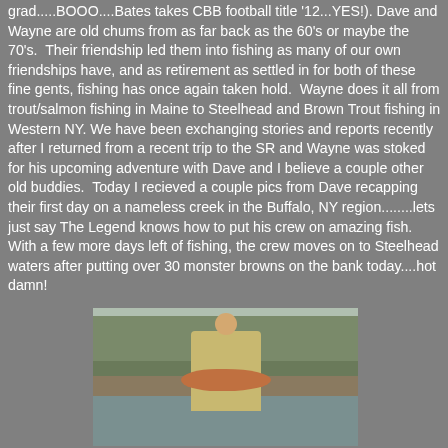grad.....BOOO....Bates takes CBB football title '12...YES!). Dave and Wayne are old chums from as far back as the 60's or maybe the 70's. Their friendship led them into fishing as many of our own friendships have, and as retirement as settled in for both of these fine gents, fishing has once again taken hold. Wayne does it all from trout/salmon fishing in Maine to Steelhead and Brown Trout fishing in Western NY. We have been exchanging stories and reports recently after I returned from a recent trip to the SR and Wayne was stoked for his upcoming adventure with Dave and I believe a couple other old buddies. Today I recieved a couple pics from Dave recapping their first day on a nameless creek in the Buffalo, NY region........lets just say The Legend knows how to put his crew on amazing fish. With a few more days left of fishing, the crew moves on to Steelhead waters after putting over 30 monster browns on the bank today....hot damn!
[Figure (photo): A person standing in a creek or shallow water, holding a large brown trout. They are wearing a yellow/tan jacket and a blue cap. Bare winter trees are visible in the background.]